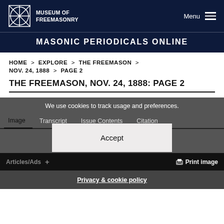MUSEUM OF FREEMASONRY
MASONIC PERIODICALS ONLINE
HOME > EXPLORE > THE FREEMASON > NOV. 24, 1888 > PAGE 2
THE FREEMASON, NOV. 24, 1888: PAGE 2
We use cookies to track usage and preferences.
Image	Transcript	Issue Contents	Citation
Accept
Articles/Ads +
Print image
Privacy & cookie policy